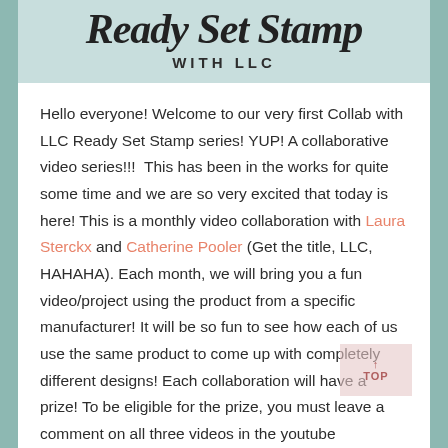Ready Set Stamp WITH LLC
Hello everyone! Welcome to our very first Collab with LLC Ready Set Stamp series! YUP! A collaborative video series!!!  This has been in the works for quite some time and we are so very excited that today is here! This is a monthly video collaboration with Laura Sterckx and Catherine Pooler (Get the title, LLC, HAHAHA). Each month, we will bring you a fun video/project using the product from a specific manufacturer! It will be so fun to see how each of us use the same product to come up with completely different designs! Each collaboration will have a prize! To be eligible for the prize, you must leave a comment on all three videos in the youtube comments section of each